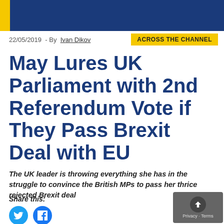[Figure (photo): Top banner image showing a person in a blue outfit, partially cropped, with a yellow vertical bar on the left side]
22/05/2019  - By Ivan Dikov
ACROSS THE CHANNEL
May Lures UK Parliament with 2nd Referendum Vote if They Pass Brexit Deal with EU
The UK leader is throwing everything she has in the struggle to convince the British MPs to pass her thrice rejected Brexit deal
Share this: